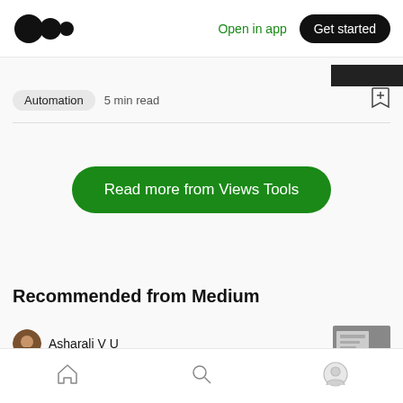[Figure (logo): Medium logo — three overlapping circles in black]
Open in app
Get started
Automation   5 min read
Read more from Views Tools
Recommended from Medium
Asharali V U